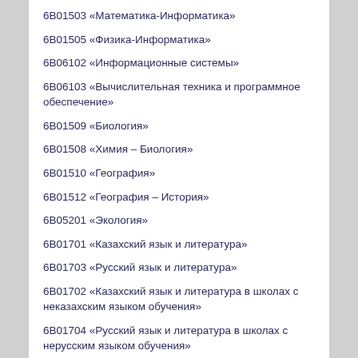6В01503 «Математика-Информатика»
6В01505 «Физика-Информатика»
6В06102 «Информационные системы»
6В06103 «Вычислительная техника и программное обеспечение»
6В01509 «Биология»
6В01508 «Химия – Биология»
6В01510 «География»
6В01512 «География – История»
6В05201 «Экология»
6В01701 «Казахский язык и литература»
6В01703 «Русский язык и литература»
6В01702 «Казахский язык и литература в школах с неказахским языком обучения»
6В01704 «Русский язык и литература в школах с нерусским языком обучения»